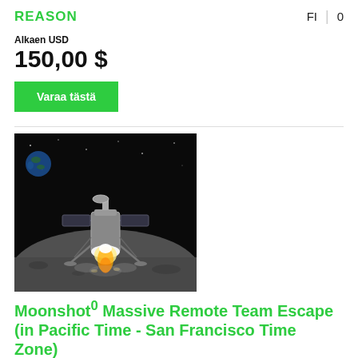REASON | FI | 0
Alkaen USD
150,00 $
Varaa tästä
[Figure (photo): A lunar lander lifting off from the moon's surface with a bright engine flame, Earth visible in the dark sky background]
Moonshot⁰ Massive Remote Team Escape (in Pacific Time - San Francisco Time Zone)
All shuttle flights have halted and one of our astronauts is stranded on